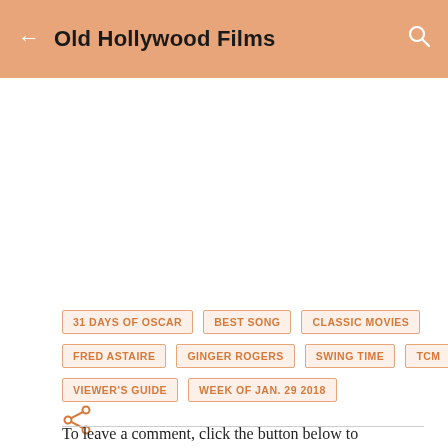Old Hollywood Films
31 DAYS OF OSCAR
BEST SONG
CLASSIC MOVIES
FRED ASTAIRE
GINGER ROGERS
SWING TIME
TCM
VIEWER'S GUIDE
WEEK OF JAN. 29 2018
To leave a comment, click the button below to